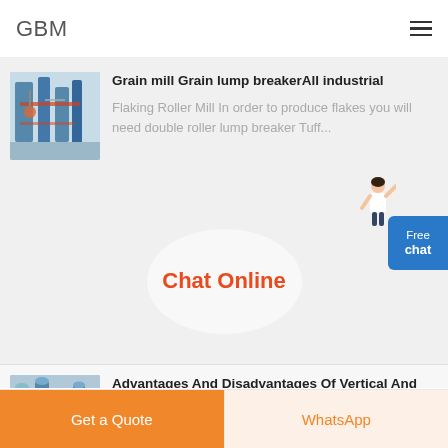GBM
Grain mill Grain lump breakerAll industrial
Flaking Roller Mill In order to produce flakes you will need double roller lump breaker Tuff...
Chat Online
[Figure (illustration): Industrial machinery/processing plant photograph thumbnail]
[Figure (illustration): Free chat button with person figure - blue button widget]
Advantages And Disadvantages Of Vertical And Horiontal Mill
[Figure (photo): Industrial vertical mill machinery photograph thumbnail]
Get a Quote
WhatsApp